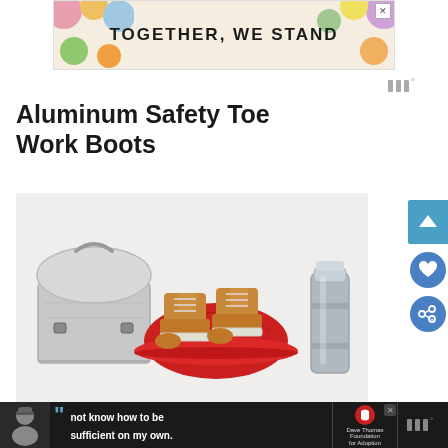[Figure (illustration): Advertisement banner with colorful abstract shapes on left and text 'TOGETHER, WE STAND' in bold black uppercase letters on a cream background, with an X close button in top right corner.]
[Figure (logo): Website logo: three vertical bars resembling 'W' or 'III' followed by a degree symbol, in gray.]
Aluminum Safety Toe Work Boots
[Figure (photo): Product photograph showing work safety items on white background: a vintage silver/gray metal lunch box on the left, a red hard hat in the center with a pair of tan/brown work boots (leather, lace-up) balanced on top of it, and a silver thermos/flask on the right.]
Aluminum safety toe work boots have also
[Figure (illustration): Bottom advertisement banner on dark/black background featuring: a person wearing a winter hat on the left, a large blue quotation mark, bold white text 'not know how to be sufficient on my own.', a red heart logo for Dave Thomas Foundation for Adoption on the right, and website logo area.]